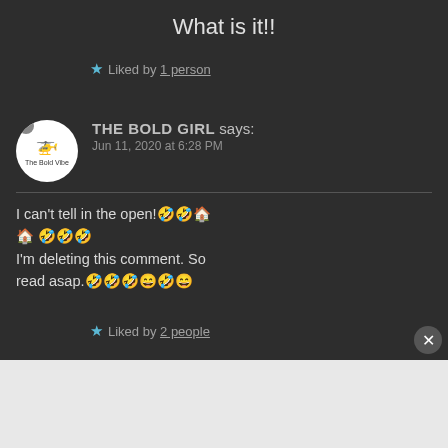What is it!!
★ Liked by 1 person
THE BOLD GIRL says:
Jun 11, 2020 at 6:28 PM
I can't tell in the open!🤣🤣🏠🏠 🤣🤣🤣
I'm deleting this comment. So read asap.🤣🤣🤣😄🤣😄
★ Liked by 2 people
[Figure (screenshot): Pocket Casts advertisement banner: 'An app by listeners, for listeners.']